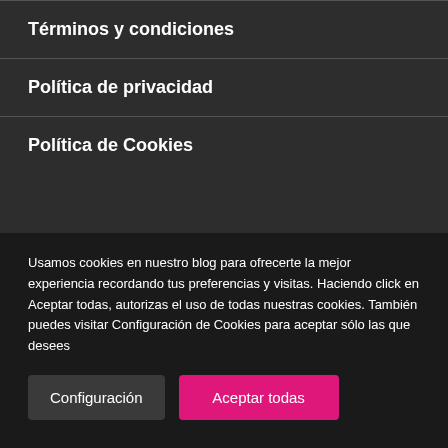Términos y condiciones
Política de privacidad
Política de Cookies
Usamos cookies en nuestro blog para ofrecerte la mejor experiencia recordando tus preferencias y visitas. Haciendo click en Aceptar todas, autorizas el uso de todas nuestras cookies. También puedes visitar Configuración de Cookies para aceptar sólo las que desees
Configuración
Aceptar todas